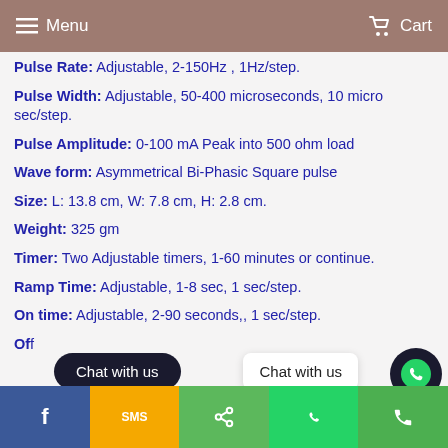Menu   Cart
Pulse Rate: Adjustable, 2-150Hz , 1Hz/step.
Pulse Width: Adjustable, 50-400 microseconds, 10 micro sec/step.
Pulse Amplitude: 0-100 mA Peak into 500 ohm load
Wave form: Asymmetrical Bi-Phasic Square pulse
Size: L: 13.8 cm, W: 7.8 cm, H: 2.8 cm.
Weight: 325 gm
Timer: Two Adjustable timers, 1-60 minutes or continue.
Ramp Time: Adjustable, 1-8 sec, 1 sec/step.
On time: Adjustable, 2-90 seconds,, 1 sec/step.
Off time: Adjustable, 2-90 seconds, 1 sec/step.